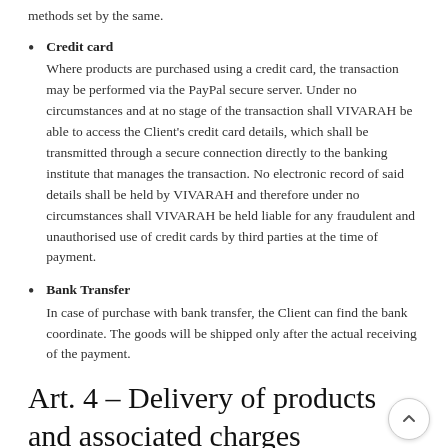methods set by the same.
Credit card
Where products are purchased using a credit card, the transaction may be performed via the PayPal secure server. Under no circumstances and at no stage of the transaction shall VIVARAH be able to access the Client's credit card details, which shall be transmitted through a secure connection directly to the banking institute that manages the transaction. No electronic record of said details shall be held by VIVARAH and therefore under no circumstances shall VIVARAH be held liable for any fraudulent and unauthorised use of credit cards by third parties at the time of payment.
Bank Transfer
In case of purchase with bank transfer, the Client can find the bank coordinate. The goods will be shipped only after the actual receiving of the payment.
Art. 4 – Delivery of products and associated charges